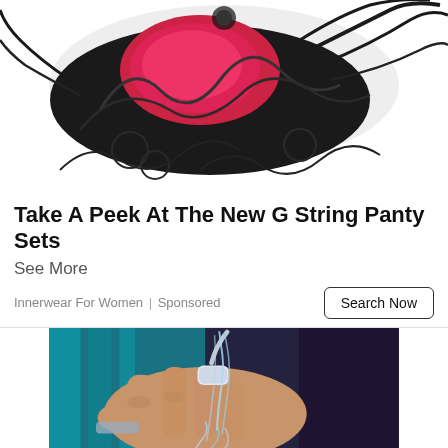[Figure (photo): Close-up photo of a pink and red lacy lingerie/butterfly piece with dark metallic ornamental elements on a white background]
Take A Peek At The New G String Panty Sets
See More
Innerwear For Women | Sponsored
Search Now
[Figure (photo): Close-up photo of a person's hand being washed with water flowing from a ring-shaped or clip-on faucet/water device, teal and purple toned background]